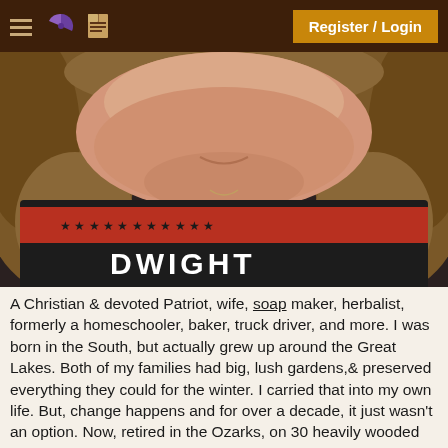Register / Login
[Figure (photo): Close-up photo of a woman with curly brown hair smiling, wearing a black shirt with a red stripe and stars and 'DWIGHT' text]
A Christian & devoted Patriot, wife, soap maker, herbalist, formerly a homeschooler, baker, truck driver, and more. I was born in the South, but actually grew up around the Great Lakes. Both of my families had big, lush gardens,& preserved everything they could for the winter. I carried that into my own life. But, change happens and for over a decade, it just wasn't an option. Now, retired in the Ozarks, on 30 heavily wooded acres